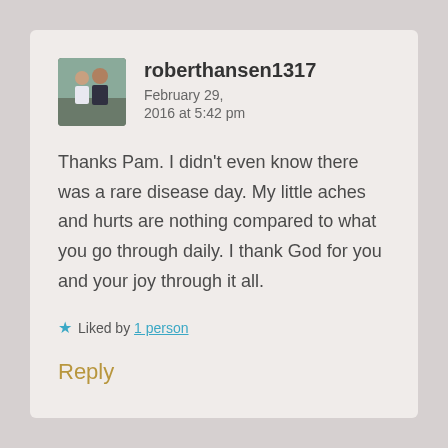[Figure (photo): Avatar photo of a couple (man and woman) used as profile picture for roberthansen1317]
roberthansen1317   February 29, 2016 at 5:42 pm
Thanks Pam. I didn't even know there was a rare disease day. My little aches and hurts are nothing compared to what you go through daily. I thank God for you and your joy through it all.
★ Liked by 1 person
Reply